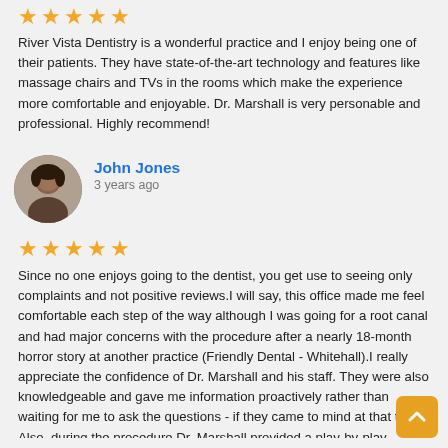[Figure (other): Five orange star rating icons followed by review text]
River Vista Dentistry is a wonderful practice and I enjoy being one of their patients. They have state-of-the-art technology and features like massage chairs and TVs in the rooms which make the experience more comfortable and enjoyable. Dr. Marshall is very personable and professional. Highly recommend!
John Jones
3 years ago
[Figure (other): Five orange star rating icons for John Jones review]
Since no one enjoys going to the dentist, you get use to seeing only complaints and not positive reviews.I will say, this office made me feel comfortable each step of the way although I was going for a root canal and had major concerns with the procedure after a nearly 18-month horror story at another practice (Friendly Dental - Whitehall).I really appreciate the confidence of Dr. Marshall and his staff. They were also knowledgeable and gave me information proactively rather than waiting for me to ask the questions - if they came to mind at that time. Also, during the procedure Dr. Marshall provided a play-by-play update and even showed me what he was doing (when